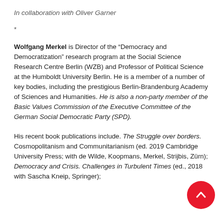In collaboration with Oliver Garner
*
Wolfgang Merkel is Director of the “Democracy and Democratization” research program at the Social Science Research Centre Berlin (WZB) and Professor of Political Science at the Humboldt University Berlin. He is a member of a number of key bodies, including the prestigious Berlin-Brandenburg Academy of Sciences and Humanities. He is also a non-party member of the Basic Values Commission of the Executive Committee of the German Social Democratic Party (SPD).
His recent book publications include. The Struggle over borders. Cosmopolitanism and Communitarianism (ed. 2019 Cambridge University Press; with de Wilde, Koopmans, Merkel, Strijbis, Zürn); Democracy and Crisis. Challenges in Turbulent Times (ed., 2018 with Sascha Kneip, Springer);